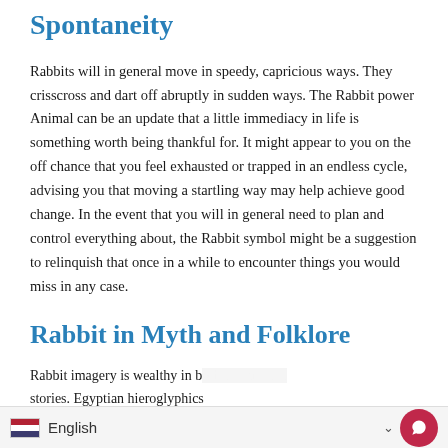Spontaneity
Rabbits will in general move in speedy, capricious ways. They crisscross and dart off abruptly in sudden ways. The Rabbit power Animal can be an update that a little immediacy in life is something worth being thankful for. It might appear to you on the off chance that you feel exhausted or trapped in an endless cycle, advising you that moving a startling way may help achieve good change. In the event that you will in general need to plan and control everything about, the Rabbit symbol might be a suggestion to relinquish that once in a while to encounter things you would miss in any case.
Rabbit in Myth and Folklore
Rabbit imagery is wealthy in both old and old stories. Egyptian hieroglyphics
English